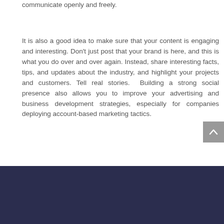communicate openly and freely.
It is also a good idea to make sure that your content is engaging and interesting. Don't just post that your brand is here, and this is what you do over and over again. Instead, share interesting facts, tips, and updates about the industry, and highlight your projects and customers. Tell real stories.  Building a strong social presence also allows you to improve your advertising and business development strategies, especially for companies deploying account-based marketing tactics.